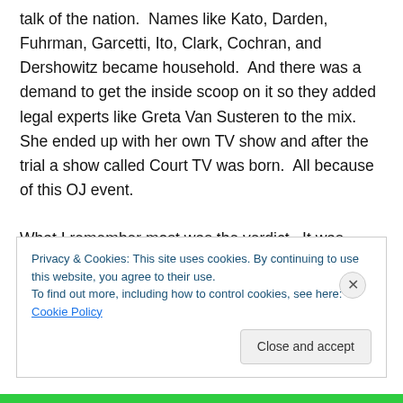talk of the nation.  Names like Kato, Darden, Fuhrman, Garcetti, Ito, Clark, Cochran, and Dershowitz became household.  And there was a demand to get the inside scoop on it so they added legal experts like Greta Van Susteren to the mix.  She ended up with her own TV show and after the trial a show called Court TV was born.  All because of this OJ event.

What I remember most was the verdict.  It was broadcast all over radio and television.  At the time I worked at a company where our whole operation depended on
Privacy & Cookies: This site uses cookies. By continuing to use this website, you agree to their use.
To find out more, including how to control cookies, see here: Cookie Policy